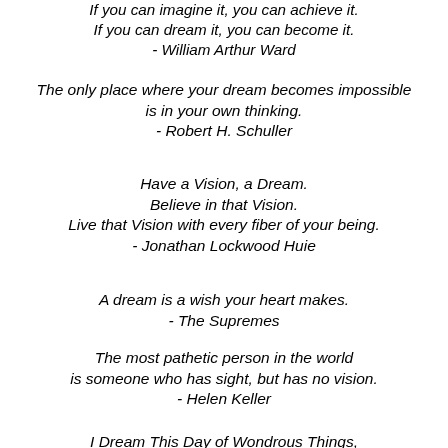If you can imagine it, you can achieve it. If you can dream it, you can become it. - William Arthur Ward
The only place where your dream becomes impossible is in your own thinking. - Robert H. Schuller
Have a Vision, a Dream. Believe in that Vision. Live that Vision with every fiber of your being. - Jonathan Lockwood Huie
A dream is a wish your heart makes. - The Supremes
The most pathetic person in the world is someone who has sight, but has no vision. - Helen Keller
I Dream This Day of Wondrous Things, of Peace and Hope and Pride. I Dance My Dance with Life Today, I'm Filled with Love Inside. - Jonathan Lockwood Huie
I have a Dream